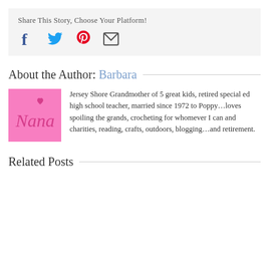Share This Story, Choose Your Platform!
[Figure (infographic): Social sharing icons: Facebook (blue), Twitter (blue bird), Pinterest (red P), Email (envelope)]
About the Author: Barbara
[Figure (logo): Pink square avatar with cursive 'Nana' text and small heart]
Jersey Shore Grandmother of 5 great kids, retired special ed high school teacher, married since 1972 to Poppy...loves spoiling the grands, crocheting for whomever I can and charities, reading, crafts, outdoors, blogging...and retirement.
Related Posts